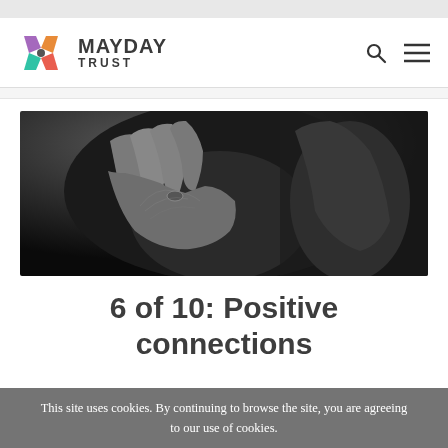Mayday Trust — site header with logo, search and menu icons
[Figure (photo): Black and white photograph of a person holding their head in their hands, fingers gripping hair, expressing distress]
6 of 10: Positive connections
This site uses cookies. By continuing to browse the site, you are agreeing to our use of cookies.